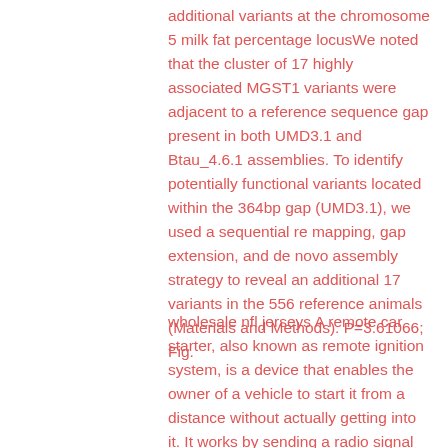additional variants at the chromosome 5 milk fat percentage locusWe noted that the cluster of 17 highly associated MGST1 variants were adjacent to a reference sequence gap present in both UMD3.1 and Btau_4.6.1 assemblies. To identify potentially functional variants located within the 364bp gap (UMD3.1), we used a sequential re mapping, gap extension, and de novo assembly strategy to reveal an additional 17 variants in the 556 reference animals (Materials and Methods). P=3.61066; Fig.
wholesale nfl jerseys A remote car starter, also known as remote ignition system, is a device that enables the owner of a vehicle to start it from a distance without actually getting into it. It works by sending a radio signal to a receiver which is located within the vehicle. By pushing